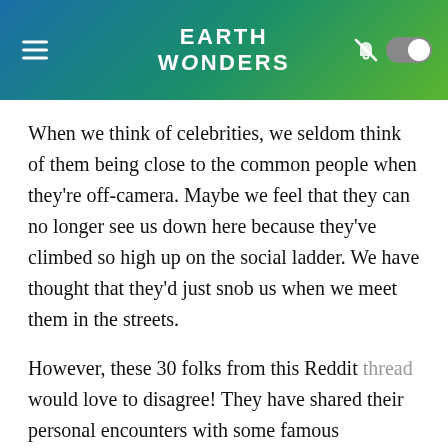EARTH WONDERS
When we think of celebrities, we seldom think of them being close to the common people when they're off-camera. Maybe we feel that they can no longer see us down here because they've climbed so high up on the social ladder. We have thought that they'd just snob us when we meet them in the streets.
However, these 30 folks from this Reddit thread would love to disagree! They have shared their personal encounters with some famous personalities, and it turned out that they were wholesome and welcoming all along. Below, you'll see who these people are and their kind attitude!